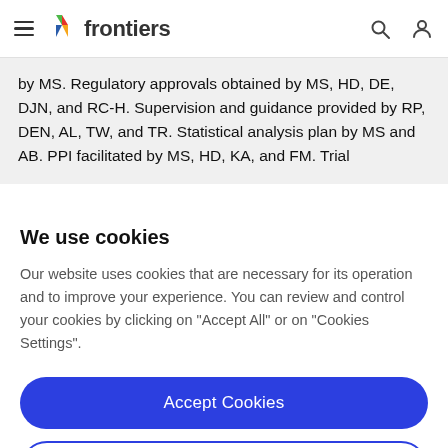frontiers
by MS. Regulatory approvals obtained by MS, HD, DE, DJN, and RC-H. Supervision and guidance provided by RP, DEN, AL, TW, and TR. Statistical analysis plan by MS and AB. PPI facilitated by MS, HD, KA, and FM. Trial
We use cookies
Our website uses cookies that are necessary for its operation and to improve your experience. You can review and control your cookies by clicking on "Accept All" or on "Cookies Settings".
Accept Cookies
Cookies Settings